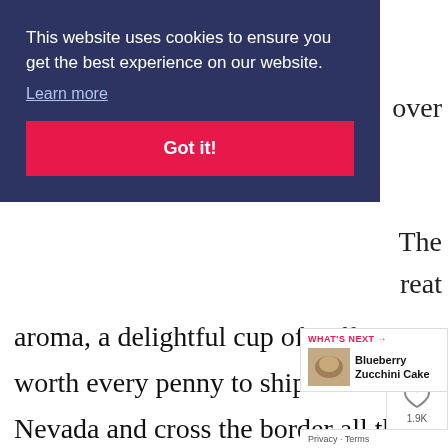[Figure (screenshot): Cookie consent banner overlay with dark navy blue background, text 'This website uses cookies to ensure you get the best experience on our website.', a 'Learn more' underlined link, and a pink/red 'Got it!' button.]
over
The
reat
aroma, a delightful cup of coffee. It is worth every penny to ship it from North Nevada and cross the border all the wa here. As soon as I open the wrapped shipping package, I can smell th delicious coffee as it's like fresh roaste
[Figure (infographic): Social sharing widget showing a heart icon and share icon with count 1.9K]
[Figure (infographic): What's Next widget showing a blueberry zucchini cake image and title]
Privacy · Terms